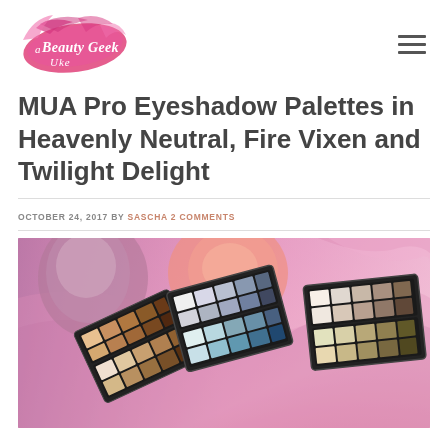[Figure (logo): Beauty Geek UK logo — pink brush stroke with cursive white text]
MUA Pro Eyeshadow Palettes in Heavenly Neutral, Fire Vixen and Twilight Delight
OCTOBER 24, 2017 BY SASCHA 2 COMMENTS
[Figure (photo): Three MUA Pro eyeshadow palettes open and fanned out on a pink and purple silky fabric background, showing neutral, cool, and warm shade ranges]